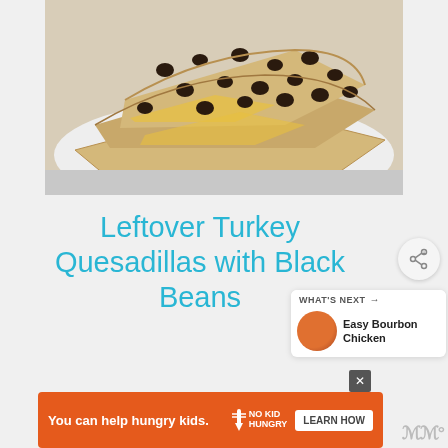[Figure (photo): Stacked quesadilla wedges with black beans and melted cheese on a white plate, viewed close up from above]
Leftover Turkey Quesadillas with Black Beans
[Figure (infographic): What's Next panel showing Easy Bourbon Chicken with thumbnail image]
[Figure (infographic): Advertisement banner: You can help hungry kids. No Kid Hungry. Learn How.]